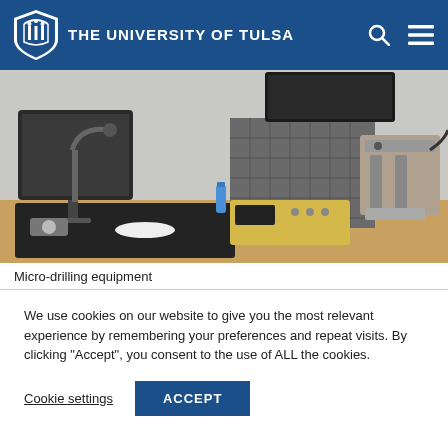THE UNIVERSITY OF TULSA
[Figure (photo): Laboratory bench with micro-drilling equipment including a computer monitor, drill stand with arm, component storage drawers, a yellow control unit, and a drilling machine on a wooden desk.]
Micro-drilling equipment
We use cookies on our website to give you the most relevant experience by remembering your preferences and repeat visits. By clicking “Accept”, you consent to the use of ALL the cookies.
Cookie settings  ACCEPT